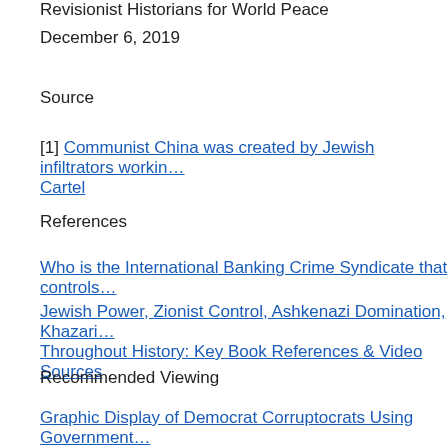Revisionist Historians for World Peace
December 6, 2019
Source
[1] Communist China was created by Jewish infiltrators working for the Cartel
References
Who is the International Banking Crime Syndicate that controls…
Jewish Power, Zionist Control, Ashkenazi Domination, Khazari… Throughout History: Key Book References & Video Sources
Recommended Viewing
Graphic Display of Democrat Corruptocrats Using Government… Deceive the American People (Video)